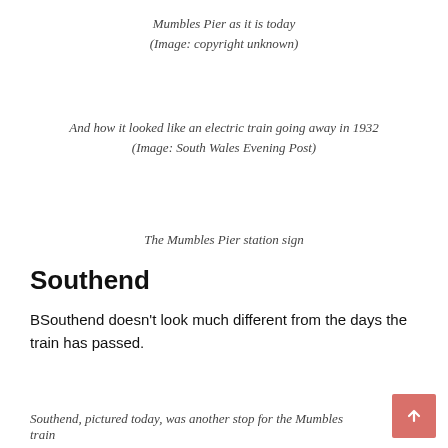Mumbles Pier as it is today
(Image: copyright unknown)
And how it looked like an electric train going away in 1932
(Image: South Wales Evening Post)
The Mumbles Pier station sign
Southend
BSouthend doesn't look much different from the days the train has passed.
Southend, pictured today, was another stop for the Mumbles train